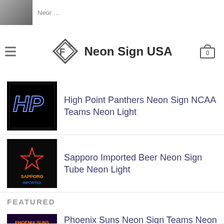[Figure (screenshot): Partially visible top product item thumbnail (truncated at top of page)]
Neon Sign USA
High Point Panthers Neon Sign NCAA Teams Neon Light
Sapporo Imported Beer Neon Sign Tube Neon Light
FEATURED
Phoenix Suns Neon Sign Teams Neon Light
Rolling Rock Baltimore Ravens Neon Sign Teams Neon Light